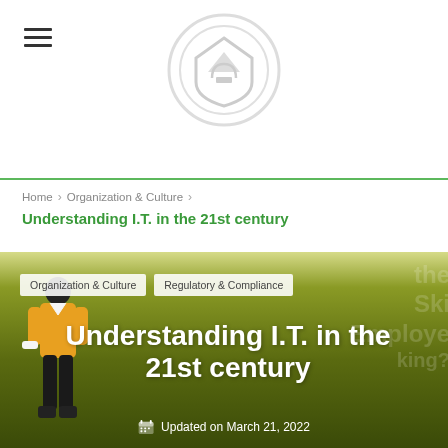[Figure (logo): Circular logo with shield/triangle icon in light gray]
Home > Organization & Culture > Understanding I.T. in the 21st century
Understanding I.T. in the 21st century
[Figure (illustration): Hero banner with olive/green gradient background, person illustration on left, overlaid text labels 'Organization & Culture' and 'Regulatory & Compliance', large article title 'Understanding I.T. in the 21st century', background ghost text about skills/employees]
Updated on March 21, 2022